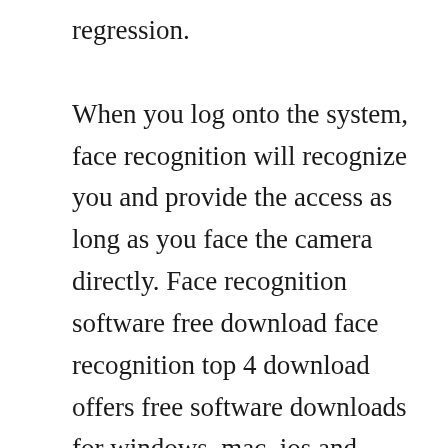regression. When you log onto the system, face recognition will recognize you and provide the access as long as you face the camera directly. Face recognition software free download face recognition top 4 download offers free software downloads for windows, mac, ios and android computers and mobile devices. Nearest neighbor find labeled pixel closest to x find planecurve that separates the two classes popular approach. Capturing a realtime 3d image of a persons facial surface,